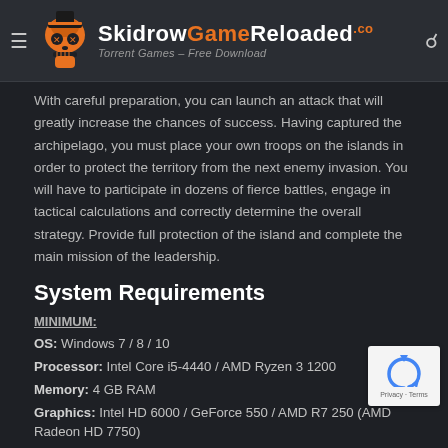SkidrowGameReloaded.co — Torrent Games – Free Download
With careful preparation, you can launch an attack that will greatly increase the chances of success. Having captured the archipelago, you must place your own troops on the islands in order to protect the territory from the next enemy invasion. You will have to participate in dozens of fierce battles, engage in tactical calculations and correctly determine the overall strategy. Provide full protection of the island and complete the main mission of the leadership.
System Requirements
MINIMUM:
OS: Windows 7 / 8 / 10
Processor: Intel Core i5-4440 / AMD Ryzen 3 1200
Memory: 4 GB RAM
Graphics: Intel HD 6000 / GeForce 550 / AMD R7 250 (AMD Radeon HD 7750)
Storage: 1 GB available space
RECOMMENDED: